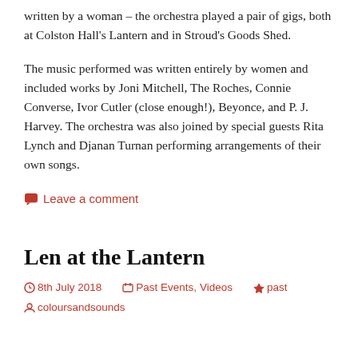written by a woman – the orchestra played a pair of gigs, both at Colston Hall's Lantern and in Stroud's Goods Shed.
The music performed was written entirely by women and included works by Joni Mitchell, The Roches, Connie Converse, Ivor Cutler (close enough!), Beyonce, and P. J. Harvey. The orchestra was also joined by special guests Rita Lynch and Djanan Turnan performing arrangements of their own songs.
Leave a comment
Len at the Lantern
8th July 2018   Past Events, Videos   past   coloursandsounds